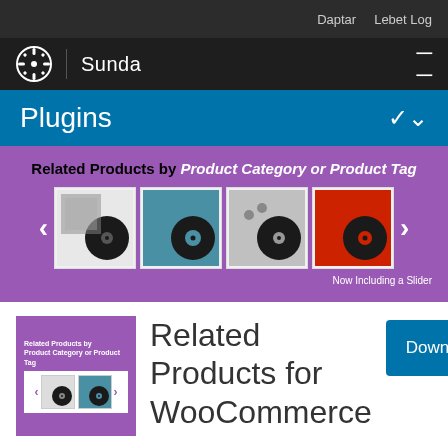Daptar  Lebet Log
WordPress | Sunda
Plugins
[Figure (screenshot): Plugin banner: Related Products by Product Category or Product Tag, showing a carousel of vinyl record product images on a purple background]
Now Including a Slider
[Figure (screenshot): Plugin thumbnail showing Related Products by Product Category or Product Tag with small vinyl record images on purple background]
Related Products for WooCommerce
Download